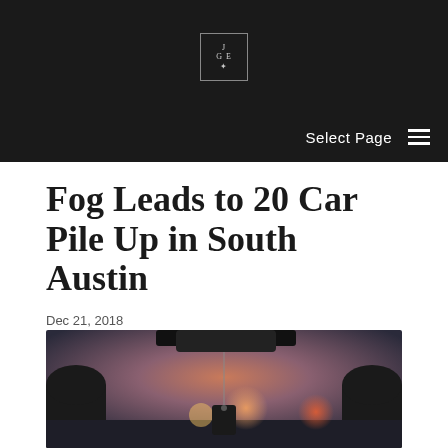[Figure (logo): Small square logo with letters J, G, E and a small cross/star, on dark background header bar]
Select Page
Fog Leads to 20 Car Pile Up in South Austin
Dec 21, 2018
[Figure (photo): Photograph taken from inside a car showing a rearview mirror with a hanging air freshener tag, with a highway and blurred bokeh lights visible through the windshield at dusk/dawn]